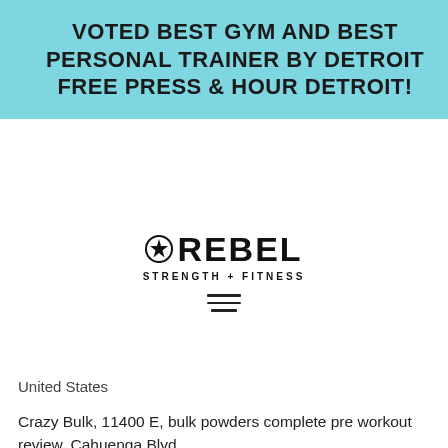VOTED BEST GYM AND BEST PERSONAL TRAINER BY DETROIT FREE PRESS & HOUR DETROIT!
ndards www, o, bulk oft, m for
[Figure (logo): Rebel Strength + Fitness logo with icon and hamburger menu]
United States
Crazy Bulk, 11400 E, bulk powders complete pre workout review. Cahuenga Blvd
Covington, KY 40219
P.S.
Sarms for sale cardarine
The best way of using Cardarine for ultimate results is to take advantage of the way it